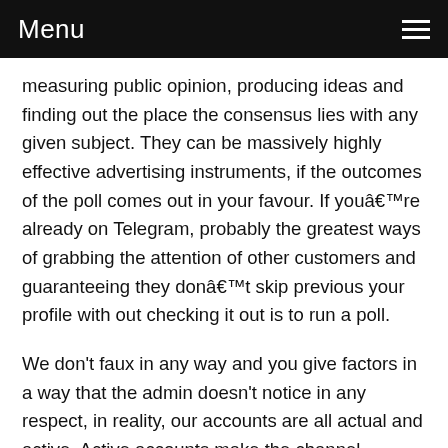Menu
measuring public opinion, producing ideas and finding out the place the consensus lies with any given subject. They can be massively highly effective advertising instruments, if the outcomes of the poll comes out in your favour. If youâ€™re already on Telegram, probably the greatest ways of grabbing the attention of other customers and guaranteeing they donâ€™t skip previous your profile with out checking it out is to run a poll.
We don't faux in any way and you give factors in a way that the admin doesn't notice in any respect, in reality, our accounts are all actual and active. Active accounts make the channel manager not suspect them at all. The most important factor that causes the